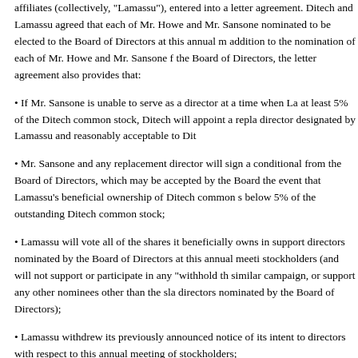affiliates (collectively, "Lamassu"), entered into a letter agreement. Ditech and Lamassu agreed that each of Mr. Howe and Mr. Sansone nominated to be elected to the Board of Directors at this annual meeting. In addition to the nomination of each of Mr. Howe and Mr. Sansone for the Board of Directors, the letter agreement also provides that:
• If Mr. Sansone is unable to serve as a director at a time when Lamassu owns at least 5% of the Ditech common stock, Ditech will appoint a replacement director designated by Lamassu and reasonably acceptable to Ditech;
• Mr. Sansone and any replacement director will sign a conditional resignation from the Board of Directors, which may be accepted by the Board of Directors in the event that Lamassu's beneficial ownership of Ditech common stock falls below 5% of the outstanding Ditech common stock;
• Lamassu will vote all of the shares it beneficially owns in support of directors nominated by the Board of Directors at this annual meeting of stockholders (and will not support or participate in any "withhold the vote" or similar campaign, or support any other nominees other than the slate of directors nominated by the Board of Directors);
• Lamassu withdrew its previously announced notice of its intent to nominate directors with respect to this annual meeting of stockholders;
• For a period ending 90 days from the date of this annual meeting of stockholders, Lamassu will not (i) make any public statement regarding